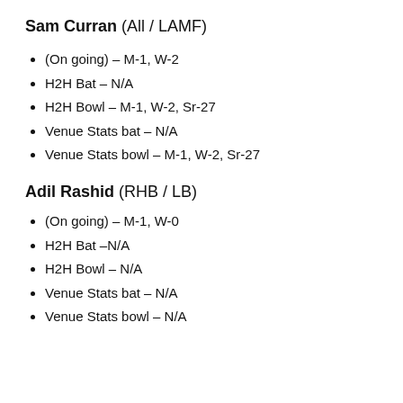Sam Curran (All / LAMF)
(On going) – M-1, W-2
H2H Bat – N/A
H2H Bowl – M-1, W-2, Sr-27
Venue Stats bat – N/A
Venue Stats bowl – M-1, W-2, Sr-27
Adil Rashid (RHB / LB)
(On going) – M-1, W-0
H2H Bat –N/A
H2H Bowl – N/A
Venue Stats bat – N/A
Venue Stats bowl – N/A